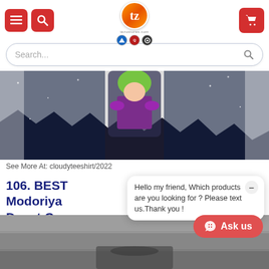tezostores.com — navigation header with menu, search, cart icons and logo
Search...
[Figure (photo): Product photo showing a figure in anime/cartoon style with green hair and purple outfit against a dark starry background, displayed with torn paper effect edges]
See More At: cloudyteeshirt/2022
106. BEST Modoriya Duvet Cov
Hello my friend, Which products are you looking for ? Please text us.Thank you !
[Figure (photo): Bottom portion of another product image showing a dark concrete/stone surface]